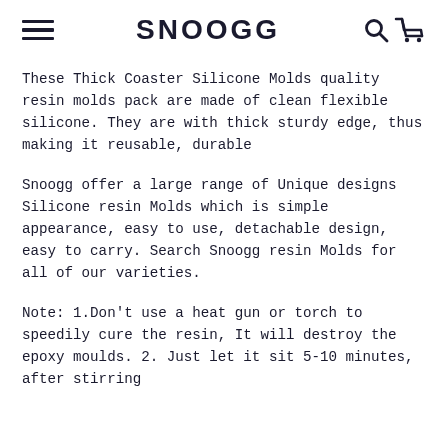SNOOGG
These Thick Coaster Silicone Molds quality resin molds pack are made of clean flexible silicone. They are with thick sturdy edge, thus making it reusable, durable
Snoogg offer a large range of Unique designs Silicone resin Molds which is simple appearance, easy to use, detachable design, easy to carry. Search Snoogg resin Molds for all of our varieties.
Note: 1.Don't use a heat gun or torch to speedily cure the resin, It will destroy the epoxy moulds. 2. Just let it sit 5-10 minutes, after stirring